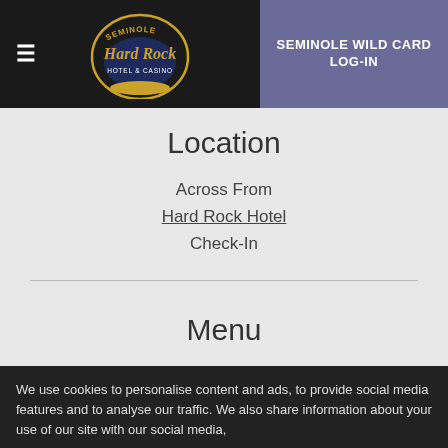Seminole Hard Rock Hotel & Casino — SEMINOLE WILD CARD LOG-IN
Location
Across From
Hard Rock Hotel
Check-In
Menu
Cocktail Menu
We use cookies to personalise content and ads, to provide social media features and to analyse our traffic. We also share information about your use of our site with our social media,